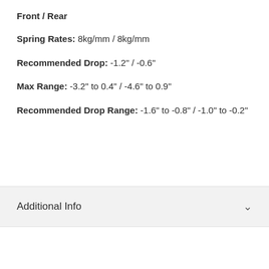Front / Rear
Spring Rates: 8kg/mm / 8kg/mm
Recommended Drop: -1.2" / -0.6"
Max Range: -3.2" to 0.4" / -4.6" to 0.9"
Recommended Drop Range: -1.6" to -0.8" / -1.0" to -0.2"
Additional Info